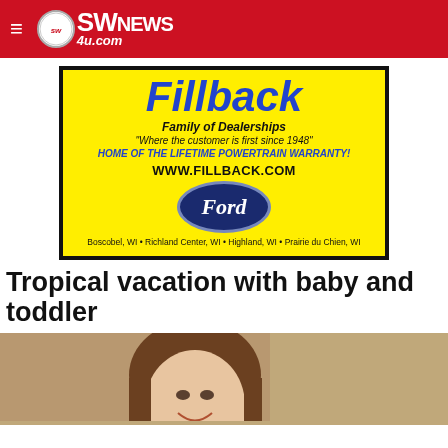SWNews4u.com
[Figure (illustration): Fillback Family of Dealerships advertisement on yellow background with Ford logo. Text: Fillback Family of Dealerships, Where the customer is first since 1948, HOME OF THE LIFETIME POWERTRAIN WARRANTY!, WWW.FILLBACK.COM, Ford oval logo, Boscobel WI • Richland Center WI • Highland WI • Prairie du Chien WI]
Tropical vacation with baby and toddler
[Figure (photo): Photo of a smiling woman with long brown hair, cropped at shoulders, against a tan/beige background]